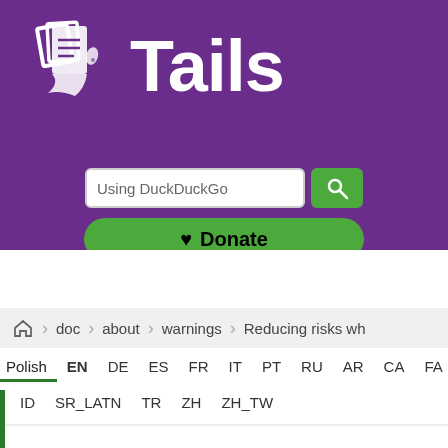[Figure (logo): Tails OS logo — white stylized laptop/book icon on purple background with 'Tails' text in white]
[Figure (screenshot): Search bar showing 'Using DuckDuckGo' with green search button]
[Figure (screenshot): Green Donate button with heart icon]
doc  about  warnings  Reducing risks whe
Polish  EN  DE  ES  FR  IT  PT  RU  AR  CA  FA
ID  SR_LATN  TR  ZH  ZH_TW